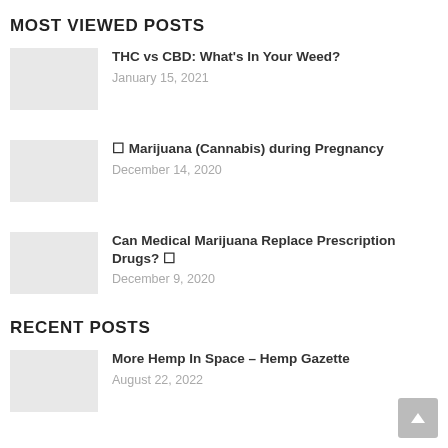MOST VIEWED POSTS
THC vs CBD: What's In Your Weed?
January 15, 2021
🌿 Marijuana (Cannabis) during Pregnancy
December 14, 2020
Can Medical Marijuana Replace Prescription Drugs? 🌿
December 9, 2020
RECENT POSTS
More Hemp In Space – Hemp Gazette
August 22, 2022